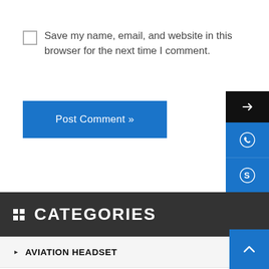Save my name, email, and website in this browser for the next time I comment.
Post Comment »
CATEGORIES
AVIATION HEADSET
RACING COMMS
AVIATION HELMET
PARAMOTOR HELMET